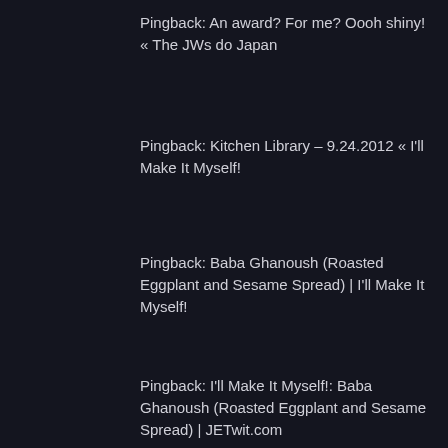Pingback: An award? For me? Oooh shiny! « The JWs do Japan
Pingback: Kitchen Library – 9.24.2012 « I'll Make It Myself!
Pingback: Baba Ghanoush (Roasted Eggplant and Sesame Spread) | I'll Make It Myself!
Pingback: I'll Make It Myself!: Baba Ghanoush (Roasted Eggplant and Sesame Spread) | JETwit.com